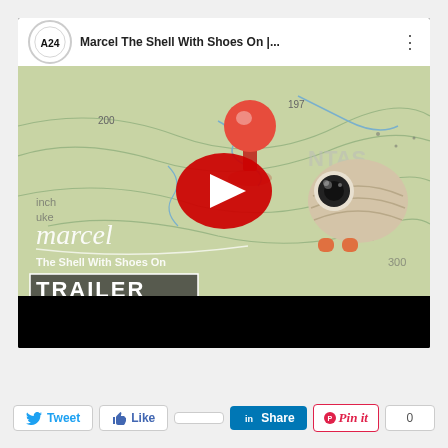[Figure (screenshot): YouTube video thumbnail for 'Marcel The Shell With Shoes On' trailer by A24. Shows a YouTube player interface with A24 logo, video title, a map background with a red pushpin, the animated shell character with large eye and orange shoes, cursive 'marcel' text, 'The Shell With Shoes On' subtitle, 'TRAILER' text in a box, and a YouTube play button overlay.]
[Figure (other): Social sharing buttons row: Tweet (Twitter), Like (Facebook), Facebook count, Share (LinkedIn), Pin it (Pinterest), Pinterest count showing 0]